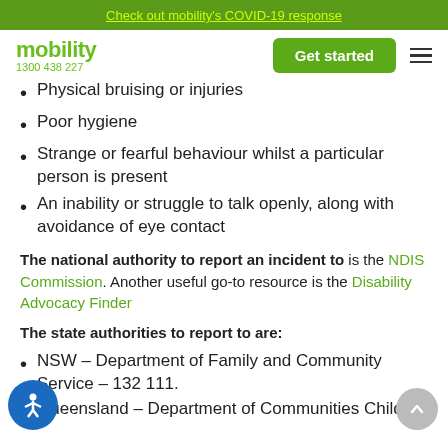Check out mobility's COVID-19 response
mobility 1300 438 227
Physical bruising or injuries
Poor hygiene
Strange or fearful behaviour whilst a particular person is present
An inability or struggle to talk openly, along with avoidance of eye contact
The national authority to report an incident to is the NDIS Commission. Another useful go-to resource is the Disability Advocacy Finder
The state authorities to report to are:
NSW – Department of Family and Community Service – 132 111.
Queensland – Department of Communities Child